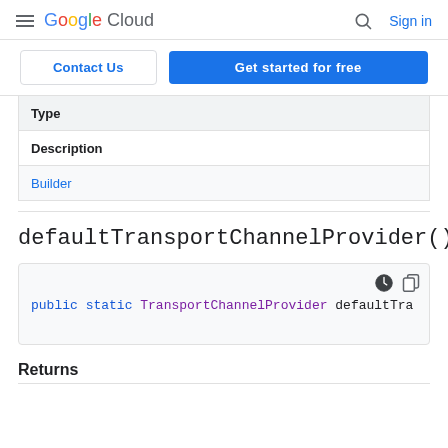Google Cloud  Sign in
[Figure (screenshot): Contact Us and Get started for free buttons]
| Type | Description |
| --- | --- |
| Builder |  |
defaultTransportChannelProvider()
public static TransportChannelProvider defaultTra
Returns